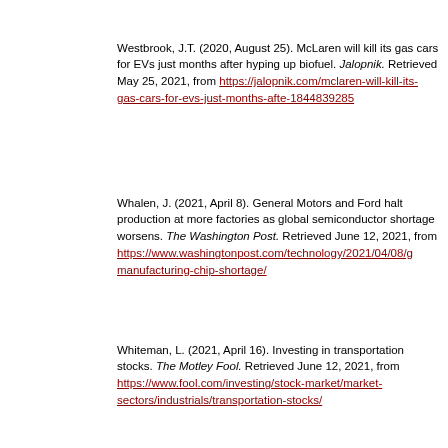Westbrook, J.T. (2020, August 25). McLaren will kill its gas cars for EVs just months after hyping up biofuel. Jalopnik. Retrieved May 25, 2021, from https://jalopnik.com/mclaren-will-kill-its-gas-cars-for-evs-just-months-afte-1844839285
Whalen, J. (2021, April 8). General Motors and Ford halt production at more factories as global semiconductor shortage worsens. The Washington Post. Retrieved June 12, 2021, from https://www.washingtonpost.com/technology/2021/04/08/g manufacturing-chip-shortage/
Whiteman, L. (2021, April 16). Investing in transportation stocks. The Motley Fool. Retrieved June 12, 2021, from https://www.fool.com/investing/stock-market/market-sectors/industrials/transportation-stocks/